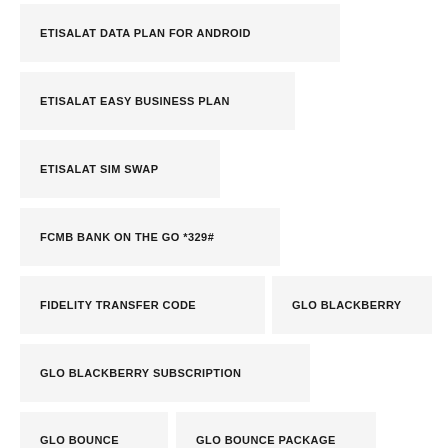ETISALAT DATA PLAN FOR ANDROID
ETISALAT EASY BUSINESS PLAN
ETISALAT SIM SWAP
FCMB BANK ON THE GO *329#
FIDELITY TRANSFER CODE
GLO BLACKBERRY
GLO BLACKBERRY SUBSCRIPTION
GLO BOUNCE
GLO BOUNCE PACKAGE